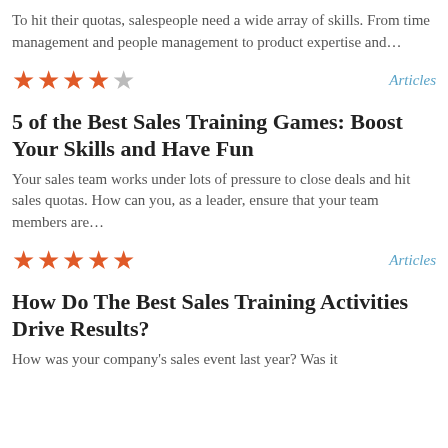To hit their quotas, salespeople need a wide array of skills. From time management and people management to product expertise and…
★★★★½  Articles
5 of the Best Sales Training Games: Boost Your Skills and Have Fun
Your sales team works under lots of pressure to close deals and hit sales quotas. How can you, as a leader, ensure that your team members are…
★★★★★  Articles
How Do The Best Sales Training Activities Drive Results?
How was your company's sales event last year? Was it